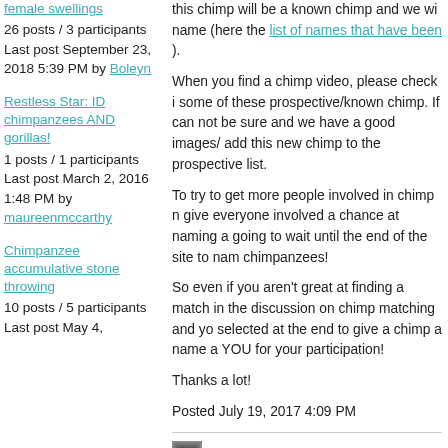female swellings
26 posts / 3 participants
Last post September 23, 2018 5:39 PM by Boleyn
Restless Star: ID chimpanzees AND gorillas!
1 posts / 1 participants
Last post March 2, 2016 1:48 PM by maureenmccarthy
Chimpanzee accumulative stone throwing
10 posts / 5 participants
Last post May 4,
this chimp will be a known chimp and we wi name (here the list of names that have been ).
When you find a chimp video, please check i some of these prospective/known chimp. If can not be sure and we have a good images/ add this new chimp to the prospective list.
To try to get more people involved in chimp n give everyone involved a chance at naming a going to wait until the end of the site to nam chimpanzees!
So even if you aren't great at finding a match in the discussion on chimp matching and yo selected at the end to give a chimp a name a YOU for your participation!
Thanks a lot!
Posted July 19, 2017 4:09 PM
by NuriaM SCIENTIST, MODERATOR
KNOWN FEMALES